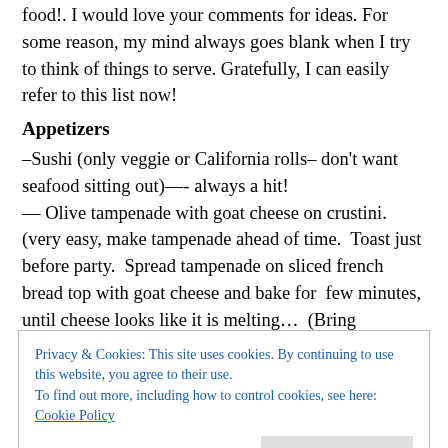food!. I would love your comments for ideas. For some reason, my mind always goes blank when I try to think of things to serve. Gratefully, I can easily refer to this list now!
Appetizers
–Sushi (only veggie or California rolls– don't want seafood sitting out)—- always a hit!
— Olive tampenade with goat cheese on crustini.  (very easy, make tampenade ahead of time.  Toast just before party.  Spread tampenade on sliced french bread top with goat cheese and bake for  few minutes, until cheese looks like it is melting…  (Bring tampenade to room temp., take
Privacy & Cookies: This site uses cookies. By continuing to use this website, you agree to their use.
To find out more, including how to control cookies, see here: Cookie Policy
–Pizza dip, serve with pita points